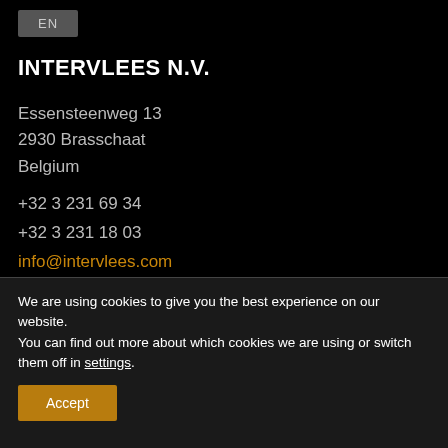EN
INTERVLEES N.V.
Essensteenweg 13
2930 Brasschaat
Belgium
+32 3 231 69 34
+32 3 231 18 03
info@intervlees.com
We are using cookies to give you the best experience on our website.
You can find out more about which cookies we are using or switch them off in settings.
Accept